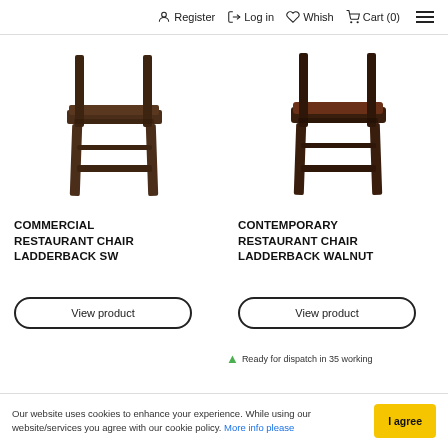Register  Log in  Whish  Cart (0)
[Figure (photo): Dark wood commercial restaurant chair with ladderback style, viewed from the front-side angle showing the seat and legs.]
COMMERCIAL RESTAURANT CHAIR LADDERBACK SW
View product
[Figure (photo): Dark walnut wood contemporary restaurant chair with ladderback style and padded seat, viewed from the front-side angle.]
CONTEMPORARY RESTAURANT CHAIR LADDERBACK WALNUT
View product
Ready for dispatch in 35 working
Our website uses cookies to enhance your experience. While using our website/services you agree with our cookie policy. More info please
I agree